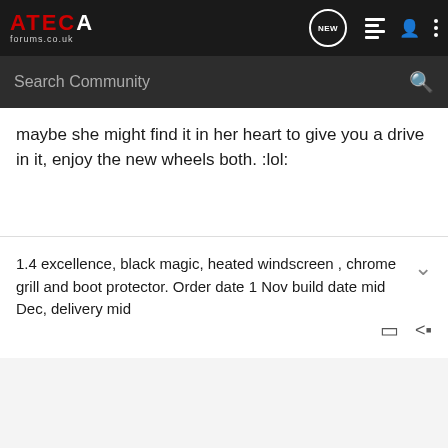ATECA FORUMS.CO.UK
maybe she might find it in her heart to give you a drive in it, enjoy the new wheels both. :lol:
1.4 excellence, black magic, heated windscreen , chrome grill and boot protector. Order date 1 Nov build date mid Dec, delivery mid
Saggy · Registered
Joined Sep 19, 2016 · 1,865 Posts
#4 · Dec 13, 2016
Woo hooo Trogette will be pleased :mrgreen: